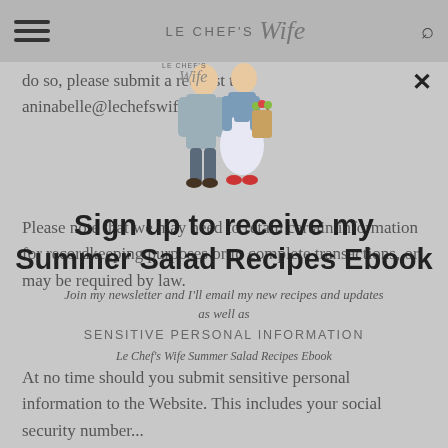LE CHEF'S Wife
do so, please submit a request to aninabelle@lechefswife.com
[Figure (illustration): Le Chef's Wife logo with illustrated couple — man and woman holding groceries, with script text 'Le Chef's Wife']
Please note that we may need to retain certain information for recordkeeping purposes or to complete transactions, or may be required by law.
Sign up to receive my Summer Salad Recipes Ebook
Join my newsletter and I'll email my new recipes and updates as well as
SENSITIVE PERSONAL INFORMATION
Le Chef's Wife Summer Salad Recipes Ebook
At no time should you submit sensitive personal information to the Website. This includes your social security number...